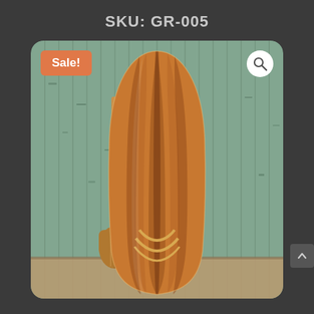SKU: GR-005
[Figure (photo): A wooden surfboard (longboard style) with natural wood grain stripes in warm brown tones, displayed vertically against a weathered teal/green wood plank wall. A wooden paddle leans against the wall to the left of the surfboard. The board features decorative curved stripe inlays near the bottom. A 'Sale!' badge is shown in the upper left corner and a magnify/search icon in the upper right corner of the image frame.]